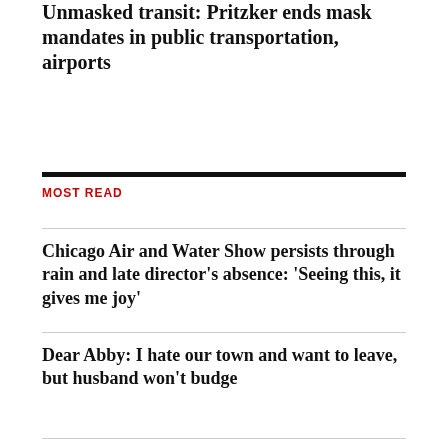Unmasked transit: Pritzker ends mask mandates in public transportation, airports
MOST READ
Chicago Air and Water Show persists through rain and late director's absence: ‘Seeing this, it gives me joy’
Dear Abby: I hate our town and want to leave, but husband won’t budge